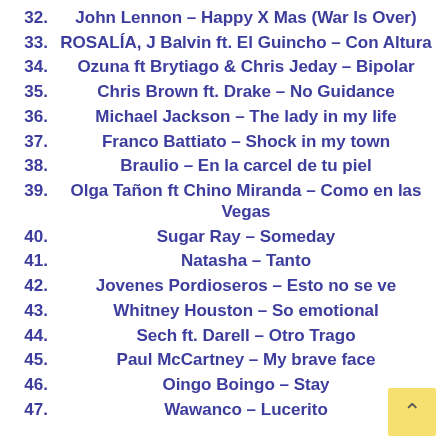32. John Lennon – Happy X Mas (War Is Over)
33. ROSALÍA, J Balvin ft. El Guincho – Con Altura
34. Ozuna ft Brytiago & Chris Jeday – Bipolar
35. Chris Brown ft. Drake – No Guidance
36. Michael Jackson – The lady in my life
37. Franco Battiato – Shock in my town
38. Braulio – En la carcel de tu piel
39. Olga Tañon ft Chino Miranda – Como en las Vegas
40. Sugar Ray – Someday
41. Natasha – Tanto
42. Jovenes Pordioseros – Esto no se ve
43. Whitney Houston – So emotional
44. Sech ft. Darell – Otro Trago
45. Paul McCartney – My brave face
46. Oingo Boingo – Stay
47. Wawanco – Lucerito